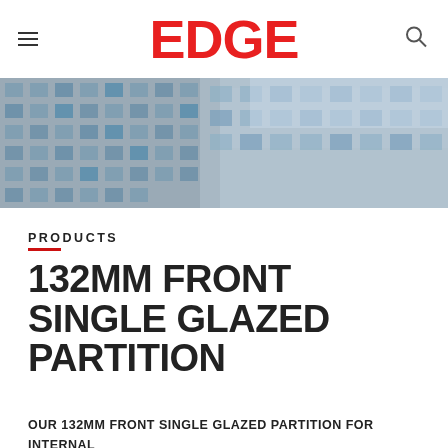EDGE
[Figure (photo): Exterior facade of a modern glass and concrete office building photographed from below against a blue sky]
PRODUCTS
132MM FRONT SINGLE GLAZED PARTITION
OUR 132MM FRONT SINGLE GLAZED PARTITION FOR INTERNAL